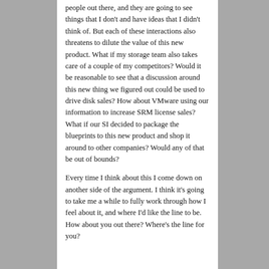people out there, and they are going to see things that I don't and have ideas that I didn't think of.  But each of these interactions also threatens to dilute the value of this new product.  What if my storage team also takes care of a couple of my competitors?  Would it be reasonable to see that a discussion around this new thing we figured out could be used to drive disk sales?  How about VMware using our information to increase SRM license sales?  What if our SI decided to package the blueprints to this new product and shop it around to other companies?  Would any of that be out of bounds?
Every time I think about this I come down on another side of the argument.  I think it's going to take me a while to fully work through how I feel about it, and where I'd like the line to be.  How about you out there?  Where's the line for you?